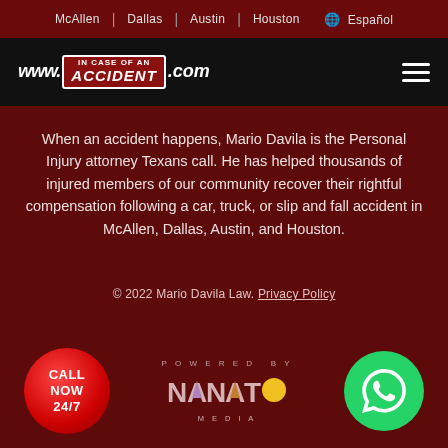McAllen | Dallas | Austin | Houston 🌐 Español
[Figure (logo): www.incaseofanaccident.com logo with red badge]
When an accident happens, Mario Davila is the Personal Injury attorney Texans call. He has helped thousands of injured members of our community recover their rightful compensation following a car, truck, or slip and fall accident in McAllen, Dallas, Austin, and Houston.
© 2022 Mario Davila Law. Privacy Policy
[Figure (logo): CALL NOW 24/7 red circle button]
[Figure (logo): POWERED BY NANATO MEDIA logo]
[Figure (logo): WhatsApp green circle button]